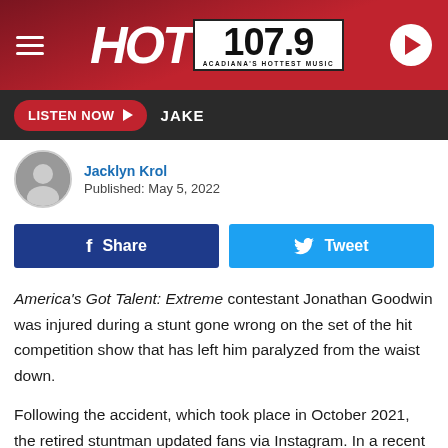HOT 107.9 — ACADIANA'S HOTTEST MUSIC
LISTEN NOW ▶  JAKE
Jacklyn Krol
Published: May 5, 2022
Share | Tweet
America's Got Talent: Extreme contestant Jonathan Goodwin was injured during a stunt gone wrong on the set of the hit competition show that has left him paralyzed from the waist down.
Following the accident, which took place in October 2021, the retired stuntman updated fans via Instagram. In a recent Instagram Story, he confirmed he has a T11 spinal cord injury. Goodwin added that he is "paralyzed from the waist down."